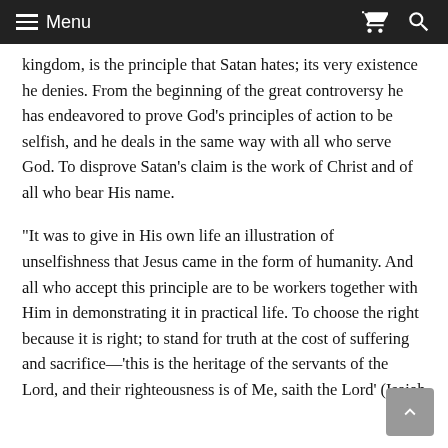Menu
kingdom, is the principle that Satan hates; its very existence he denies. From the beginning of the great controversy he has endeavored to prove God's principles of action to be selfish, and he deals in the same way with all who serve God. To disprove Satan's claim is the work of Christ and of all who bear His name.
“It was to give in His own life an illustration of unselfishness that Jesus came in the form of humanity. And all who accept this principle are to be workers together with Him in demonstrating it in practical life. To choose the right because it is right; to stand for truth at the cost of suffering and sacrifice—‘this is the heritage of the servants of the Lord, and their righteousness is of Me, saith the Lord’ (Isaiah